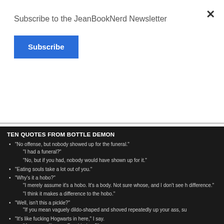Subscribe to the JeanBookNerd Newsletter
Subscribe
TEN QUOTES FROM BOTTLE DEMON
"No offense, but nobody showed up for the funeral."
"I had a funeral?"
"No, but if you had, nobody would have shown up for it."
"Eating souls take a lot out of you."
"Why's it a hobo?"
"I merely assume it's a hobo. It's a body. Not sure whose, and I don't see h difference."
"I think it makes a difference to the hobo."
"Well, isn't this a pickle?"
"If you mean vaguely dildo-shaped and shoved repeatedly up your ass, su
"It's like fucking Hogwarts in here," I say.
"Are you calling me Dumbledore?"
"I was thinking more Voldemort, actually."
I know that lost look. You think you know all the angles. You think you kno